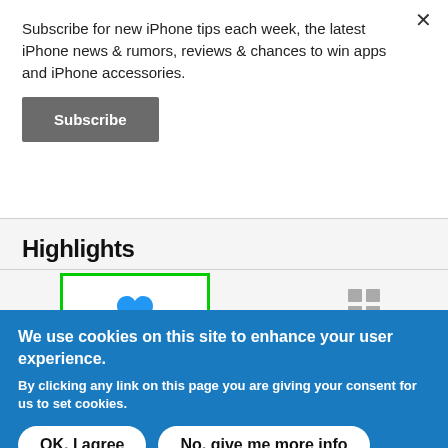Subscribe for new iPhone tips each week, the latest iPhone news & rumors, reviews & chances to win apps and iPhone accessories.
[Figure (screenshot): Subscribe button (dark gray rectangular button with white bold text 'Subscribe')]
[Figure (screenshot): App interface showing 'Highlights' section with a green-bordered 'Summary' tab containing a blue heart icon and blue 'Summary' label, and a 'Browse' tab with a gray grid icon and gray 'Browse' label. A horizontal black bar at the bottom.]
We use cookies on this site to enhance your user experience.
By clicking any link on this page you are giving your consent for us to set cookies.
[Figure (screenshot): Cookie consent banner with two buttons: 'OK, I agree' and 'No, give me more info']